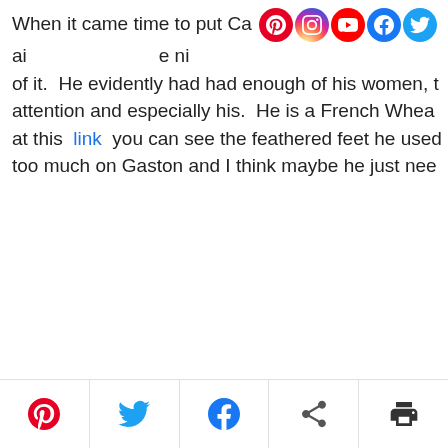When it came time to put Casper away for the ni... of it. He evidently had had enough of his women, ... attention and especially his. He is a French Whea... at this link you can see the feathered feet he used... too much on Gaston and I think maybe he just nee...
[Figure (photo): Outdoor photo showing a white car parked in a field with bare trees in the background and a person partially visible on the right edge]